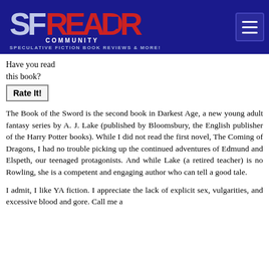[Figure (logo): SFReader Community – Speculative Fiction Book Reviews & More! logo on dark blue background with hamburger menu icon]
Have you read this book?
Rate It!
The Book of the Sword is the second book in Darkest Age, a new young adult fantasy series by A. J. Lake (published by Bloomsbury, the English publisher of the Harry Potter books). While I did not read the first novel, The Coming of Dragons, I had no trouble picking up the continued adventures of Edmund and Elspeth, our teenaged protagonists. And while Lake (a retired teacher) is no Rowling, she is a competent and engaging author who can tell a good tale.
I admit, I like YA fiction. I appreciate the lack of explicit sex, vulgarities, and excessive blood and gore. Call me a